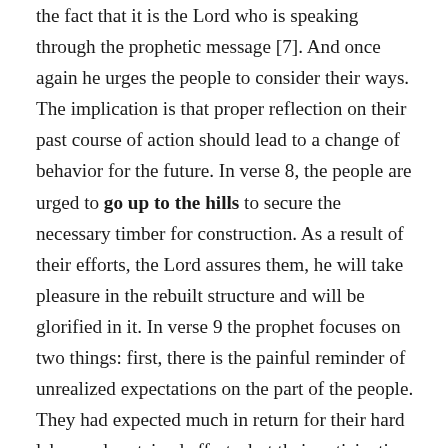the fact that it is the Lord who is speaking through the prophetic message [7]. And once again he urges the people to consider their ways. The implication is that proper reflection on their past course of action should lead to a change of behavior for the future. In verse 8, the people are urged to go up to the hills to secure the necessary timber for construction. As a result of their efforts, the Lord assures them, he will take pleasure in the rebuilt structure and will be glorified in it. In verse 9 the prophet focuses on two things: first, there is the painful reminder of unrealized expectations on the part of the people. They had expected much in return for their hard labor and sustained efforts, but their anticipations had not come to fruition. Instead, the return for their work had been poor agricultural conditions resulting in failed crops, spiraling inflation accompanied by